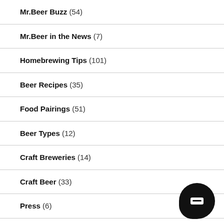Mr.Beer Buzz (54)
Mr.Beer in the News (7)
Homebrewing Tips (101)
Beer Recipes (35)
Food Pairings (51)
Beer Types (12)
Craft Breweries (14)
Craft Beer (33)
Press (6)
Brewery Spotlight (1)